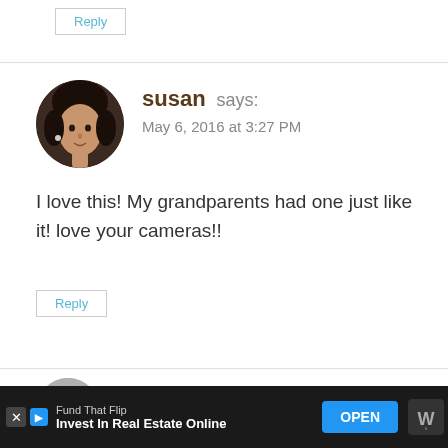Reply
[Figure (photo): Circular avatar portrait of a woman with dark hair, smiling slightly, against a dark background]
susan says:
May 6, 2016 at 3:27 PM
I love this! My grandparents had one just like it! love your cameras!!
Reply
Karla @Small Town Rambler says:
[Figure (infographic): Advertisement bar: Fund That Flip - Invest In Real Estate Online, with OPEN button]